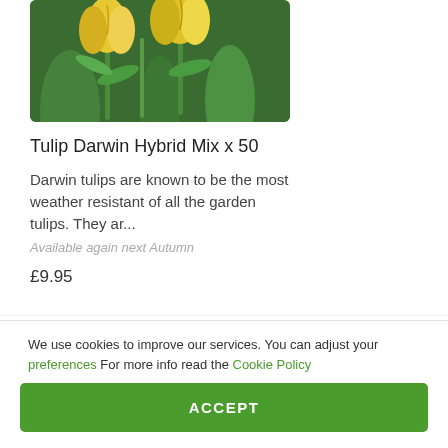[Figure (photo): Yellow tulip flowers with green stems and leaves in a garden setting]
Tulip Darwin Hybrid Mix x 50
Darwin tulips are known to be the most weather resistant of all the garden tulips. They ar...
Available again next Autumn
£9.95
Discover plants & more
House plants
Perennials
Shrubs
We use cookies to improve our services. You can adjust your preferences For more info read the Cookie Policy
ACCEPT